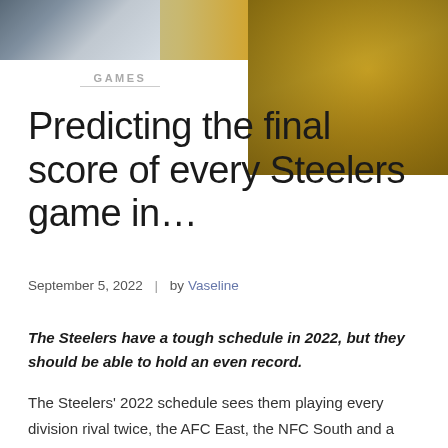[Figure (photo): Sports photo strip at top: left side shows players in grey/blue tones, right side shows players in yellow/gold uniforms]
GAMES
Predicting the final score of every Steelers game in…
September 5, 2022  |  by Vaseline
The Steelers have a tough schedule in 2022, but they should be able to hold an even record.
The Steelers' 2022 schedule sees them playing every division rival twice, the AFC East, the NFC South and a few other clubs added into the mix. It won't be an easy road for this club that has no expectations for the year. They